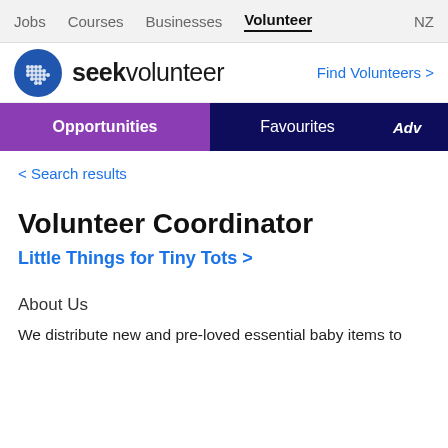Jobs  Courses  Businesses  Volunteer  NZ
[Figure (logo): Seek Volunteer logo with blue circle icon containing white dot grid pattern, and text 'seekvolunteer' beside it. 'Find Volunteers >' link on the right.]
Opportunities  Favourites  Adv
< Search results
Volunteer Coordinator
Little Things for Tiny Tots >
About Us
We distribute new and pre-loved essential baby items to